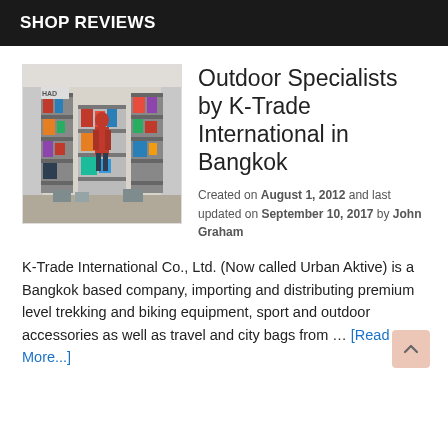SHOP REVIEWS
[Figure (photo): Exterior and interior view of an outdoor gear shop showing shelves stocked with backpacks, camping equipment, and outdoor accessories.]
Outdoor Specialists by K-Trade International in Bangkok
Created on August 1, 2012 and last updated on September 10, 2017 by John Graham
K-Trade International Co., Ltd. (Now called Urban Aktive) is a Bangkok based company, importing and distributing premium level trekking and biking equipment, sport and outdoor accessories as well as travel and city bags from … [Read More...]